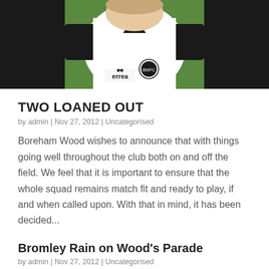[Figure (photo): Cropped photo of a football player wearing a white and black Errea jersey with Boreham Wood badge, photographed against a green background]
TWO LOANED OUT
by admin | Nov 27, 2012 | Uncategorised
Boreham Wood wishes to announce that with things going well throughout the club both on and off the field. We feel that it is important to ensure that the whole squad remains match fit and ready to play, if and when called upon. With that in mind, it has been decided...
Bromley Rain on Wood's Parade
by admin | Nov 27, 2012 | Uncategorised